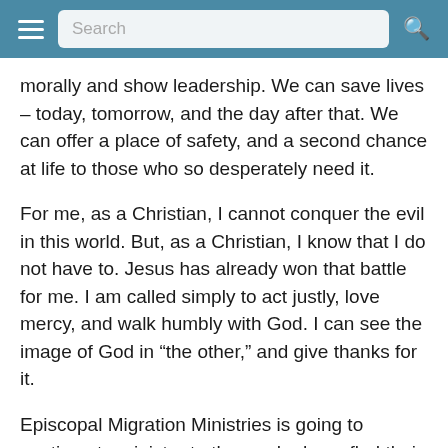Search
morally and show leadership. We can save lives – today, tomorrow, and the day after that. We can offer a place of safety, and a second chance at life to those who so desperately need it.
For me, as a Christian, I cannot conquer the evil in this world. But, as a Christian, I know that I do not have to. Jesus has already won that battle for me. I am called simply to act justly, love mercy, and walk humbly with God. I can see the image of God in “the other,” and give thanks for it.
Episcopal Migration Ministries is going to continue to minister to those who have fled their homes because of persecution, violence, or war. Through our network of affiliates across the…